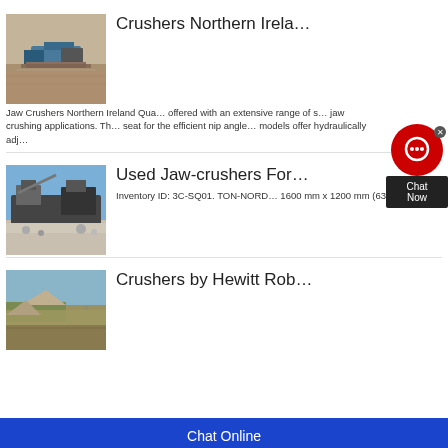[Figure (photo): Aerial view of a jaw crusher machine at a quarry site]
Crushers Northern Irela…
Jaw Crushers Northern Ireland Qua… offered with an extensive range of s… jaw crushing applications. The… seat for the efficient nip angle… models offer hydraulically adj…
[Figure (photo): Mobile jaw crusher machine at a quarry with blue sky background]
Used Jaw-crushers For…
Inventory ID: 3C-SQ01. TON-NORD… 1600 mm x 1200 mm (63" x 47") wit…
[Figure (photo): Quarry landscape with excavated rock face]
Crushers by Hewitt Rob…
[Figure (other): Chat Now widget overlay with red circle and dark box]
Chat Online